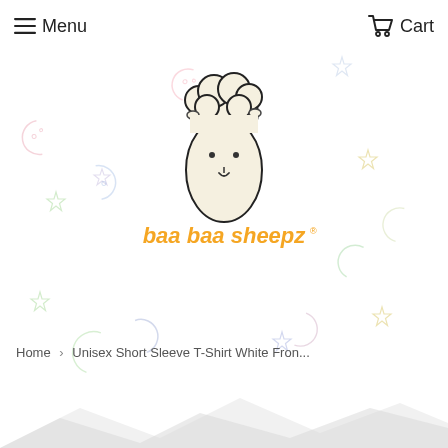Menu  Cart
[Figure (logo): Baa Baa Sheepz logo: cartoon sheep face above orange cursive text 'baa baa sheepz' with registered trademark symbol, on a white background with pastel moon and star decorations]
Home › Unisex Short Sleeve T-Shirt White Fron...